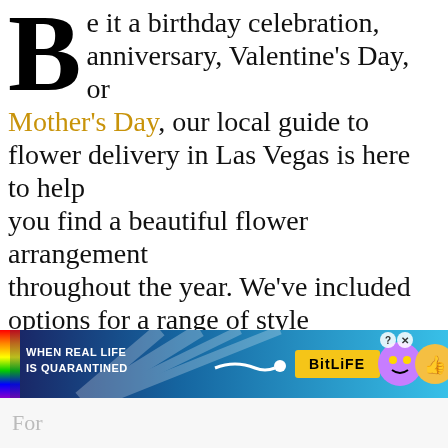Be it a birthday celebration, anniversary, Valentine's Day, or Mother's Day, our local guide to flower delivery in Las Vegas is here to help you find a beautiful flower arrangement throughout the year. We've included options for a range of style preferences and budget considerations and many of these excellent florists offer speedy flower delivery services throughout Las Vegas, Nevada, and also the to the surrounding areas, 7-days a week. Enjoy!
[Figure (infographic): Advertisement banner for BitLife mobile game with text 'WHEN REAL LIFE IS QUARANTINED' and colorful game imagery with emoji characters]
For